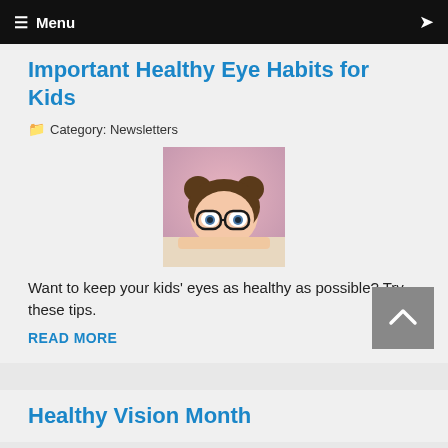≡ Menu
Important Healthy Eye Habits for Kids
📁 Category: Newsletters
[Figure (photo): A young girl with two buns hairstyle wearing round black glasses, peeking over a surface against a pink background]
Want to keep your kids' eyes as healthy as possible? Try these tips.
READ MORE
Healthy Vision Month